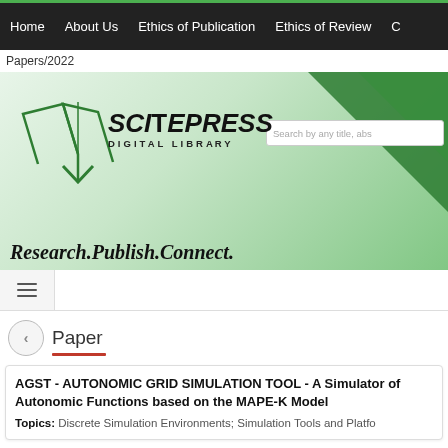Home | About Us | Ethics of Publication | Ethics of Review | C
Papers/2022
[Figure (screenshot): SCITEPRESS Digital Library banner with logo, book icon, green gradient background, tagline 'Research.Publish.Connect.' and search box]
Paper
AGST - AUTONOMIC GRID SIMULATION TOOL - A Simulator of Autonomic Functions based on the MAPE-K Model
Topics: Discrete Simulation Environments; Simulation Tools and Platforms